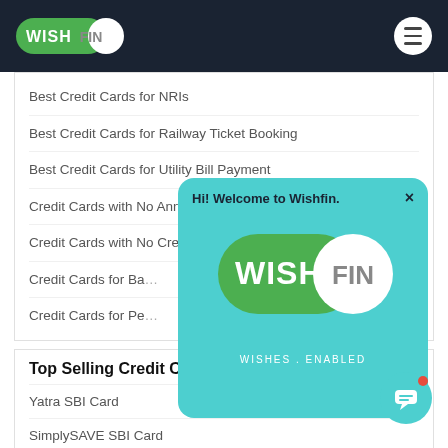[Figure (logo): WishFin logo on dark navy navigation bar with hamburger menu icon on the right]
Best Credit Cards for NRIs
Best Credit Cards for Railway Ticket Booking
Best Credit Cards for Utility Bill Payment
Credit Cards with No Annual Fee
Credit Cards with No Credit
Credit Cards for Ba…
Credit Cards for Pe…
[Figure (screenshot): WishFin popup overlay with teal background showing the WishFin logo (green pill with white circle) and tagline 'WISHES . ENABLED', with a close (×) button and header text 'Hi! Welcome to Wishfin.']
Top Selling Credit Cards
Yatra SBI Card
SimplySAVE SBI Card